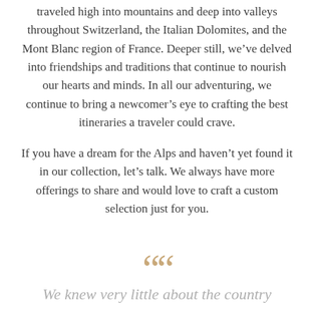traveled high into mountains and deep into valleys throughout Switzerland, the Italian Dolomites, and the Mont Blanc region of France. Deeper still, we've delved into friendships and traditions that continue to nourish our hearts and minds. In all our adventuring, we continue to bring a newcomer's eye to crafting the best itineraries a traveler could crave.
If you have a dream for the Alps and haven't yet found it in our collection, let's talk. We always have more offerings to share and would love to craft a custom selection just for you.
““
We knew very little about the country